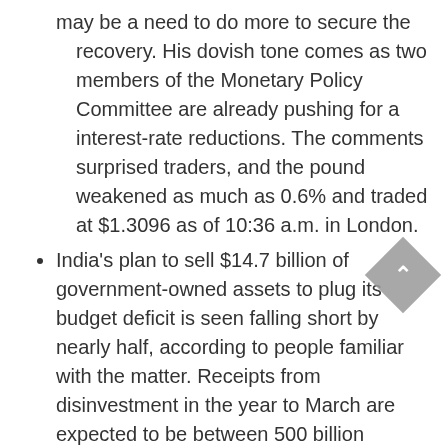may be a need to do more to secure the recovery. His dovish tone comes as two members of the Monetary Policy Committee are already pushing for a interest-rate reductions. The comments surprised traders, and the pound weakened as much as 0.6% and traded at $1.3096 as of 10:36 a.m. in London.
India's plan to sell $14.7 billion of government-owned assets to plug its budget deficit is seen falling short by nearly half, according to people familiar with the matter. Receipts from disinvestment in the year to March are expected to be between 500 billion rupees ($7 billion) and 600 billion rupees against the target of 1.05 trillion rupees, the people said, asking not to be identified as the numbers are in the